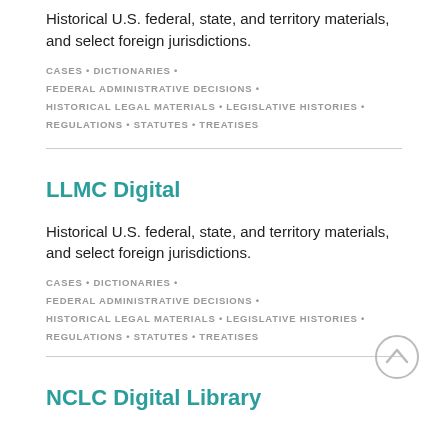Historical U.S. federal, state, and territory materials, and select foreign jurisdictions.
CASES • DICTIONARIES • FEDERAL ADMINISTRATIVE DECISIONS • HISTORICAL LEGAL MATERIALS • LEGISLATIVE HISTORIES • REGULATIONS • STATUTES • TREATISES
LLMC Digital
Historical U.S. federal, state, and territory materials, and select foreign jurisdictions.
CASES • DICTIONARIES • FEDERAL ADMINISTRATIVE DECISIONS • HISTORICAL LEGAL MATERIALS • LEGISLATIVE HISTORIES • REGULATIONS • STATUTES • TREATISES
NCLC Digital Library